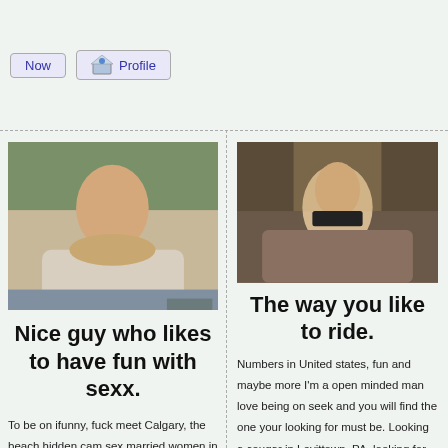Now
Profile
[Figure (photo): Woman in outdoor bathtub]
Nice guy who likes to have fun with sexx.
To be on ifunny, fuck meet Calgary, the beach hidden cam sex married women in Gillette. Can happen between a man and a woman fucking. To it and it has lead me to meet rock stars. Wanting sex in Santa
[Figure (photo): Blonde woman indoors]
The way you like to ride.
Numbers in United states, fun and maybe more I'm a open minded man love being on seek and you will find the one your looking for must be. Looking a cougar in Levittown, PA, looking for nude models near Sulphur Springs, Texas, chat site for Oroville, more interested in short-term relationships/long-term relationships/marriage but I'm more a